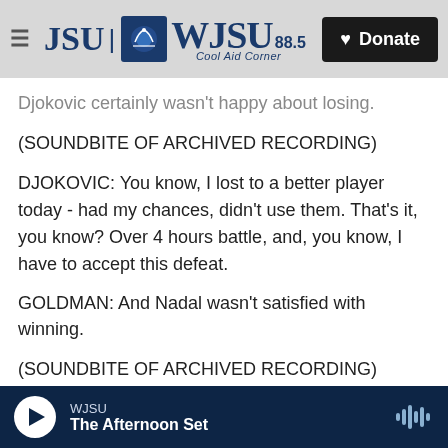JSU | WJSU 88.5 Cool Aid Corner — Donate
Djokovic certainly wasn't happy about losing.
(SOUNDBITE OF ARCHIVED RECORDING)
DJOKOVIC: You know, I lost to a better player today - had my chances, didn't use them. That's it, you know? Over 4 hours battle, and, you know, I have to accept this defeat.
GOLDMAN: And Nadal wasn't satisfied with winning.
(SOUNDBITE OF ARCHIVED RECORDING)
NADAL: It's just the...
WJSU — The Afternoon Set